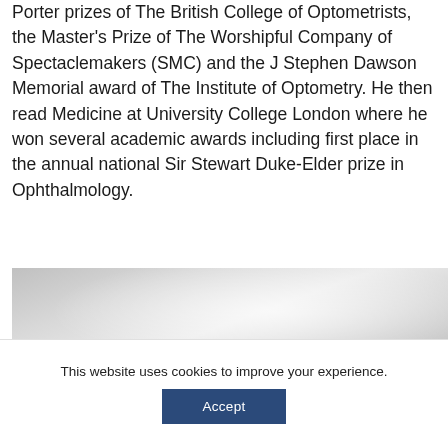Porter prizes of The British College of Optometrists, the Master's Prize of The Worshipful Company of Spectaclemakers (SMC) and the J Stephen Dawson Memorial award of The Institute of Optometry. He then read Medicine at University College London where he won several academic awards including first place in the annual national Sir Stewart Duke-Elder prize in Ophthalmology.
[Figure (photo): A light grey/white toned photograph, partially visible, appears to show a medical or clinical setting with soft lighting.]
This website uses cookies to improve your experience.
Accept